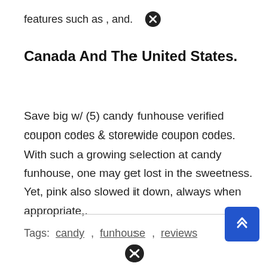features such as , and.  ✕
Canada And The United States.
Save big w/ (5) candy funhouse verified coupon codes & storewide coupon codes. With such a growing selection at candy funhouse, one may get lost in the sweetness. Yet, pink also slowed it down, always when appropriate,.
Tags:  candy  ,  funhouse  ,  reviews